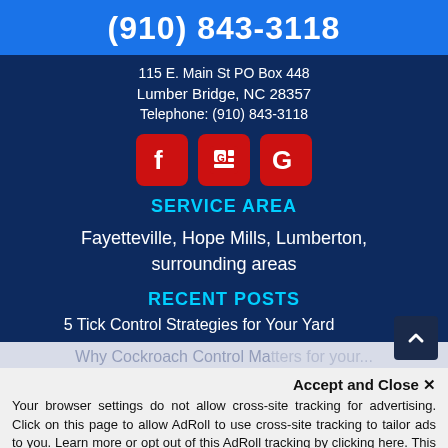(910) 843-3118
115 E. Main St PO Box 448
Lumber Bridge, NC 28357
Telephone: (910) 843-3118
[Figure (other): Social media icons: Facebook, Google My Business, Google]
SERVICE AREA
Fayetteville, Hope Mills, Lumberton, surrounding areas
RECENT POSTS
5 Tick Control Strategies for Your Yard
Why Cockroach Control Matters for your...
Accept and Close ✕
Your browser settings do not allow cross-site tracking for advertising. Click on this page to allow AdRoll to use cross-site tracking to tailor ads to you. Learn more or opt out of this AdRoll tracking by clicking here. This message only appears once.